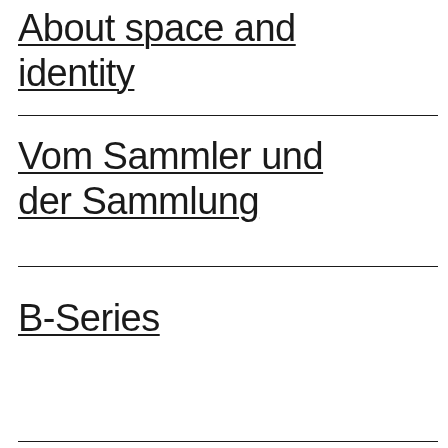About space and identity
Vom Sammler und der Sammlung
B-Series